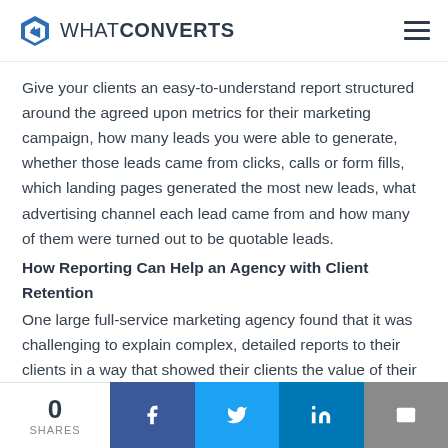WHATCONVERTS
Give your clients an easy-to-understand report structured around the agreed upon metrics for their marketing campaign, how many leads you were able to generate, whether those leads came from clicks, calls or form fills, which landing pages generated the most new leads, what advertising channel each lead came from and how many of them were turned out to be quotable leads.
How Reporting Can Help an Agency with Client Retention
One large full-service marketing agency found that it was challenging to explain complex, detailed reports to their clients in a way that showed their clients the value of their work or the revenue generated through the marketing campaigns they were running. They wanted to show exactly how their work was driving their customers' ROI.
0 SHARES | Facebook | Twitter | LinkedIn | Email